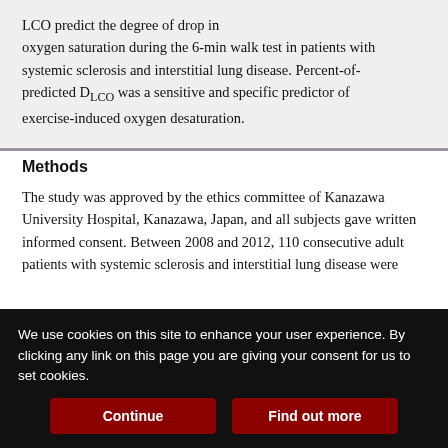LCO ... oxygen saturation during the 6-min walk test in patients with systemic sclerosis and interstitial lung disease. Percent-of-predicted D_LCO was a sensitive and specific predictor of exercise-induced oxygen desaturation.
Methods
The study was approved by the ethics committee of Kanazawa University Hospital, Kanazawa, Japan, and all subjects gave written informed consent. Between 2008 and 2012, 110 consecutive adult patients with systemic sclerosis and interstitial lung disease were
We use cookies on this site to enhance your user experience. By clicking any link on this page you are giving your consent for us to set cookies.